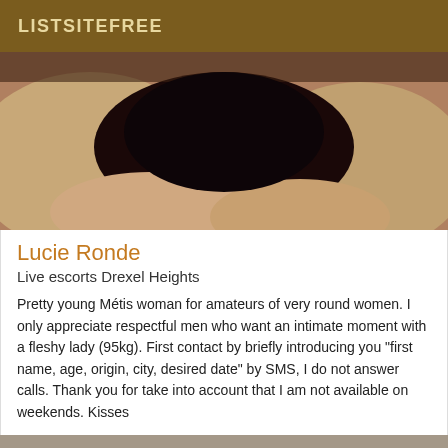LISTSITEFREE
[Figure (photo): Close-up photo of a person in black underwear, cropped view of body]
Lucie Ronde
Live escorts Drexel Heights
Pretty young Métis woman for amateurs of very round women. I only appreciate respectful men who want an intimate moment with a fleshy lady (95kg). First contact by briefly introducing you "first name, age, origin, city, desired date" by SMS, I do not answer calls. Thank you for take into account that I am not available on weekends. Kisses
[Figure (photo): Partial view of another listing photo at the bottom of the page]